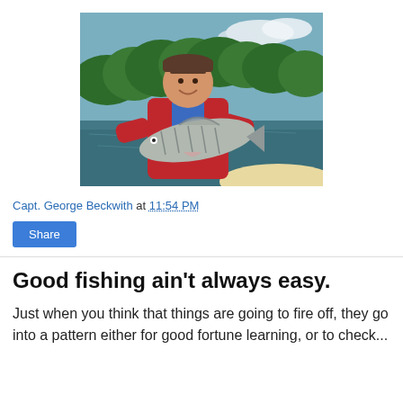[Figure (photo): A smiling man in a red and blue jacket and brown cap holding a striped bass fish with both hands, standing on a boat on a river with green forested hills in the background and cloudy sky.]
Capt. George Beckwith at 11:54 PM
Share
Good fishing ain't always easy.
Just when you think that things are going to fire off, they go into a pattern either for good fortune learning, or to check...